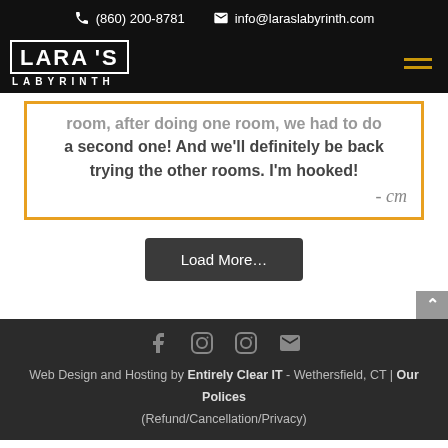(860) 200-8781  info@laraslabyrinth.com
[Figure (logo): Lara's Labyrinth logo in white on black background with hamburger menu icon]
room, after doing one room, we had to do a second one! And we'll definitely be back trying the other rooms. I'm hooked! - cm
Load More...
Web Design and Hosting by Entirely Clear IT - Wethersfield, CT | Our Polices (Refund/Cancellation/Privacy)